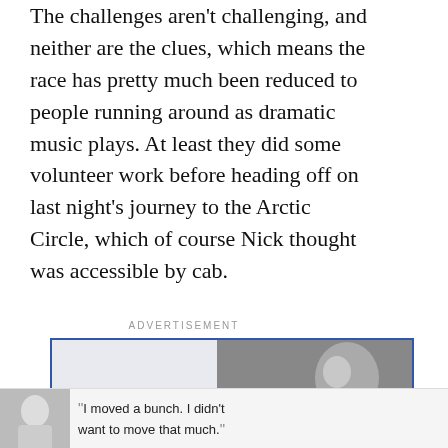The challenges aren't challenging, and neither are the clues, which means the race has pretty much been reduced to people running around as dramatic music plays. At least they did some volunteer work before heading off on last night's journey to the Arctic Circle, which of course Nick thought was accessible by cab.
[Figure (other): Purple circular heart/like button with white heart icon, number '1' below, and a share button with plus icon]
ADVERTISEMENT
[Figure (photo): Advertisement banner with blue border showing 'From Hello to Help' text on left side and a black and white photo of a young woman on the right side]
[Figure (photo): Bottom advertisement banner with photo of a boy, text 'I moved a bunch. I didn't want to move that much.' and Dave Thomas Foundation for Adoption logo]